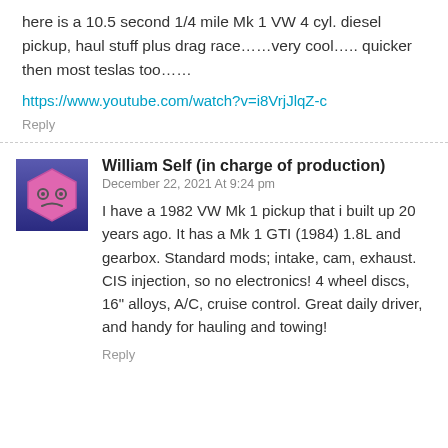here is a 10.5 second 1/4 mile Mk 1 VW 4 cyl. diesel pickup, haul stuff plus drag race……very cool….. quicker then most teslas too……
https://www.youtube.com/watch?v=i8VrjJlqZ-c
Reply
[Figure (illustration): User avatar: pink hexagonal sad/grumpy face emoji on a purple/blue gradient background]
William Self (in charge of production)
December 22, 2021 At 9:24 pm
I have a 1982 VW Mk 1 pickup that i built up 20 years ago. It has a Mk 1 GTI (1984) 1.8L and gearbox. Standard mods; intake, cam, exhaust. CIS injection, so no electronics! 4 wheel discs, 16" alloys, A/C, cruise control. Great daily driver, and handy for hauling and towing!
Reply